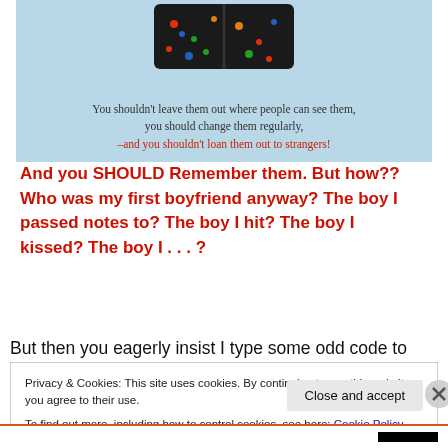[Figure (photo): Image of dark shorts/swim trunks with colorful pattern on a light blue background, with text overlay: 'You shouldn't leave them out where people can see them, you should change them regularly, –and you shouldn't loan them out to strangers!']
And you SHOULD Remember them. But how?? Who was my first boyfriend anyway? The boy I passed notes to? The boy I hit? The boy I kissed? The boy I . . . ?
But then you eagerly insist I type some odd code to prove
Privacy & Cookies: This site uses cookies. By continuing to use this website, you agree to their use.
To find out more, including how to control cookies, see here: Cookie Policy